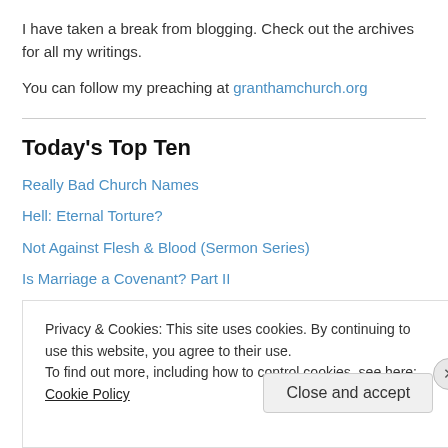I have taken a break from blogging. Check out the archives for all my writings.
You can follow my preaching at granthamchurch.org
Today's Top Ten
Really Bad Church Names
Hell: Eternal Torture?
Not Against Flesh & Blood (Sermon Series)
Is Marriage a Covenant? Part II
Essays
Privacy & Cookies: This site uses cookies. By continuing to use this website, you agree to their use. To find out more, including how to control cookies, see here: Cookie Policy
Close and accept